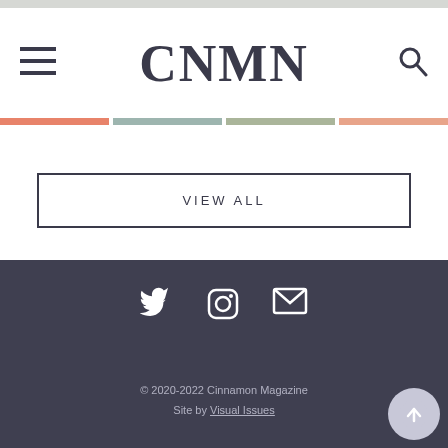CNMN
VIEW ALL
© 2020-2022 Cinnamon Magazine
Site by Visual Issues